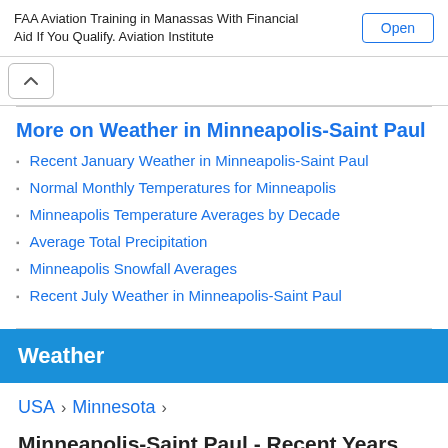FAA Aviation Training in Manassas With Financial Aid If You Qualify. Aviation Institute
Open
More on Weather in Minneapolis-Saint Paul
Recent January Weather in Minneapolis-Saint Paul
Normal Monthly Temperatures for Minneapolis
Minneapolis Temperature Averages by Decade
Average Total Precipitation
Minneapolis Snowfall Averages
Recent July Weather in Minneapolis-Saint Paul
Weather
USA > Minnesota >
Minneapolis-Saint Paul - Recent Years